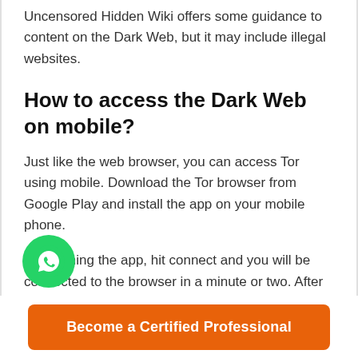Uncensored Hidden Wiki offers some guidance to content on the Dark Web, but it may include illegal websites.
How to access the Dark Web on mobile?
Just like the web browser, you can access Tor using mobile. Download the Tor browser from Google Play and install the app on your mobile phone.
On opening the app, hit connect and you will be connected to the browser in a minute or two. After connecting, click on “run the test.” To test whether the browser is working properly or not, just type
[Figure (logo): WhatsApp floating button (green circle with white phone/chat icon)]
Become a Certified Professional